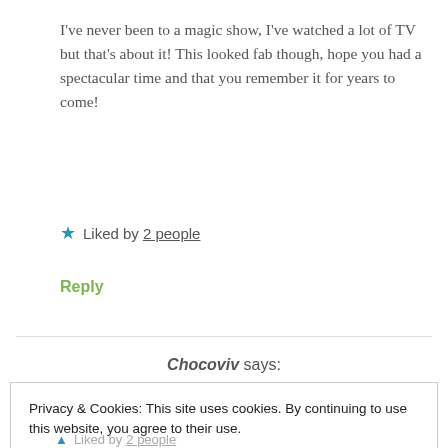I've never been to a magic show, I've watched a lot of TV but that's about it! This looked fab though, hope you had a spectacular time and that you remember it for years to come!
★ Liked by 2 people
Reply
Chocoviv says:
Privacy & Cookies: This site uses cookies. By continuing to use this website, you agree to their use.
To find out more, including how to control cookies, see here: Cookie Policy
Close and accept
▲ Liked by 2 people